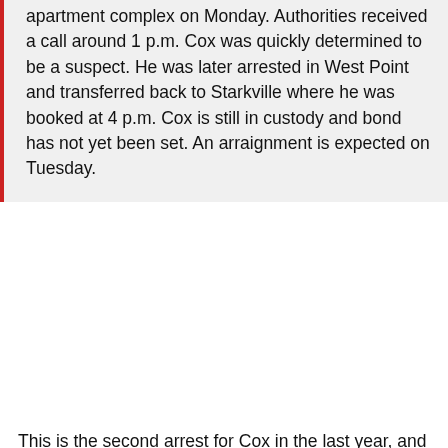apartment complex on Monday. Authorities received a call around 1 p.m. Cox was quickly determined to be a suspect. He was later arrested in West Point and transferred back to Starkville where he was booked at 4 p.m. Cox is still in custody and bond has not yet been set. An arraignment is expected on Tuesday.
This is the second arrest for Cox in the last year, and the second one involving domestic violence. It looks like these incidents happened at the same apartment complex (or an apartment complex with the same name). His pre-draft profile alluded to concern from teams due to the first arrest, which got him suspended indefinitely from Mississippi State. NFL teams don't have patience for these types of things, especially from undrafted players trying to make the team. We are really about to see a calling of former...